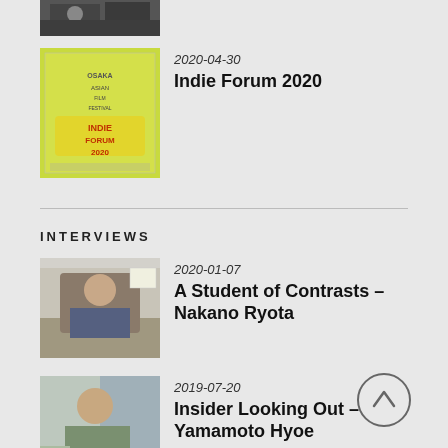[Figure (photo): Small thumbnail photo of people, partially visible at top of page]
2020-04-30
Indie Forum 2020
[Figure (photo): Colorful film festival poster for Indie Forum 2020]
INTERVIEWS
2020-01-07
A Student of Contrasts – Nakano Ryota
[Figure (photo): Photo of a man sitting at a desk]
2019-07-20
Insider Looking Out – Yamamoto Hyoe
[Figure (photo): Photo of a man near a window]
2018-12-23
Killer Smile – Asakura Kayoko
[Figure (photo): Photo of a smiling woman]